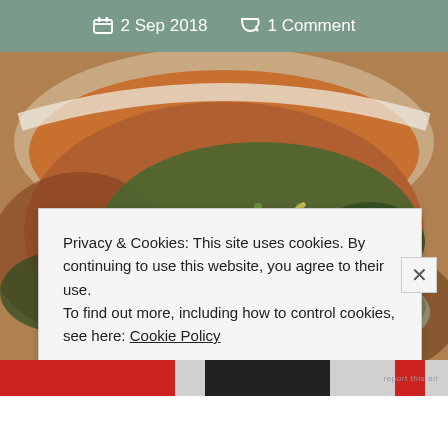2 Sep 2018   1 Comment
[Figure (photo): A white bowl filled with vegetable soup containing mushrooms, green beans, peas, carrots, and leafy greens in a reddish-brown broth, viewed from above at an angle.]
Privacy & Cookies: This site uses cookies. By continuing to use this website, you agree to their use.
To find out more, including how to control cookies, see here: Cookie Policy
CLOSE AND ACCEPT